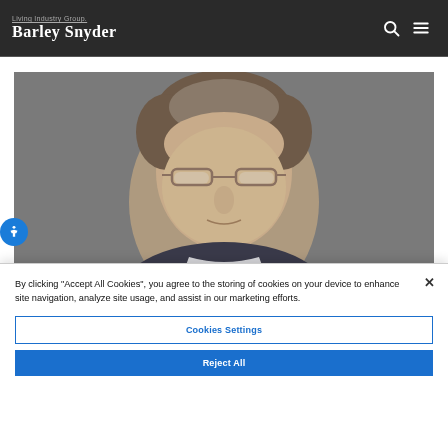Living Industry Group. Barley Snyder
[Figure (photo): Portrait photo of a middle-aged man with glasses and short gray-brown hair, against a gray background]
By clicking "Accept All Cookies", you agree to the storing of cookies on your device to enhance site navigation, analyze site usage, and assist in our marketing efforts.
Cookies Settings
Reject All